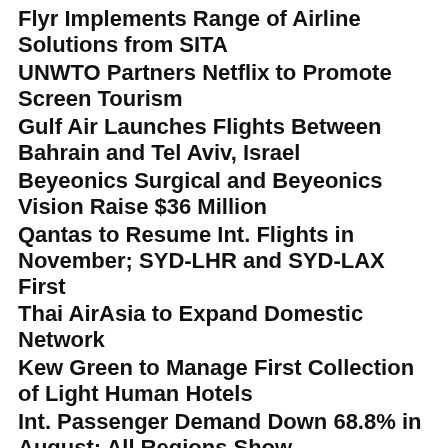Flyr Implements Range of Airline Solutions from SITA
UNWTO Partners Netflix to Promote Screen Tourism
Gulf Air Launches Flights Between Bahrain and Tel Aviv, Israel
Beyeonics Surgical and Beyeonics Vision Raise $36 Million
Qantas to Resume Int. Flights in November; SYD-LHR and SYD-LAX First
Thai AirAsia to Expand Domestic Network
Kew Green to Manage First Collection of Light Human Hotels
Int. Passenger Demand Down 68.8% in August; All Regions Show Improvement
Qatar Airways to Increase Flights to Egypt